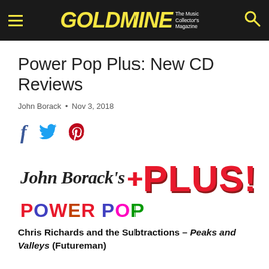GOLDMINE — The Music Collector's Magazine
Power Pop Plus: New CD Reviews
John Borack • Nov 3, 2018
[Figure (infographic): Social sharing icons: Facebook (f), Twitter (bird), Pinterest (p)]
[Figure (logo): John Borack's Power Pop Plus! logo — colorful stylized wordmark with large red PLUS! text]
Chris Richards and the Subtractions – Peaks and Valleys (Futureman)